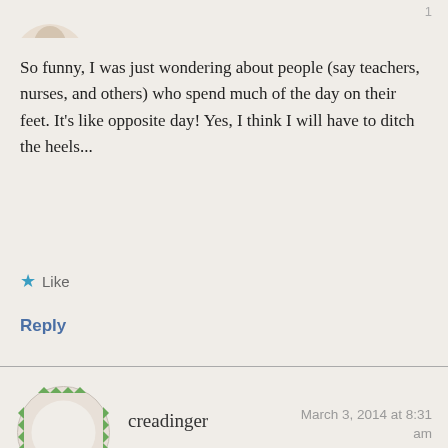[Figure (photo): Partial avatar image visible at top left, cropped]
So funny, I was just wondering about people (say teachers, nurses, and others) who spend much of the day on their feet. It's like opposite day! Yes, I think I will have to ditch the heels...
★ Like
Reply
[Figure (photo): Round avatar with green triangle/arrow border pattern for user creadinger]
creadinger
March 3, 2014 at 8:31 am